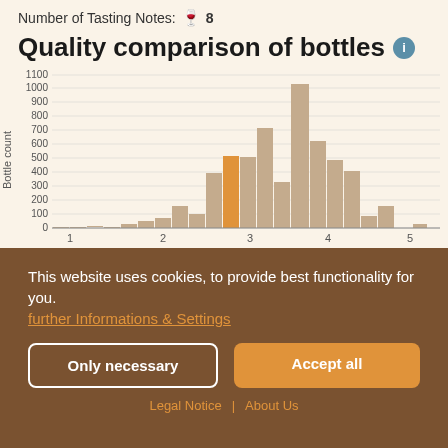Number of Tasting Notes: 🍷 8
Quality comparison of bottles ℹ
[Figure (histogram): Quality comparison of bottles]
This website uses cookies, to provide best functionality for you.
further Informations & Settings
Only necessary
Accept all
Legal Notice | About Us